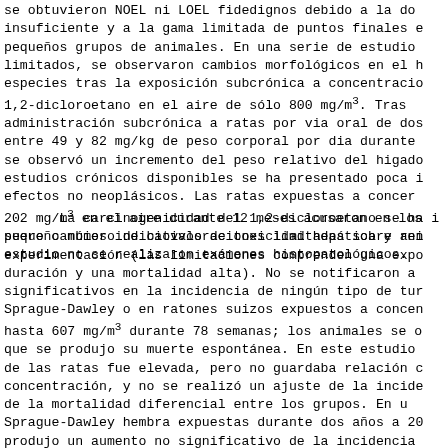se obtuvieron NOEL ni LOEL fidedignos debido a la do insuficiente y a la gama limitada de puntos finales e pequeños grupos de animales.  En una serie de estudio limitados, se observaron cambios morfológicos en el h especies tras la exposición subcrónica a concentracio 1,2-dicloroetano en el aire de sólo 800 mg/m³.  Tras administración subcrónica a ratas por via oral de dos entre 49 y 82 mg/kg de peso corporal por dia durante se observó un incremento del peso relativo del higad estudios crónicos disponibles se ha presentado poca i efectos no neoplásicos.  Las ratas expuestas a concer 202 mg/m³ en el aire durante 12 meses acusaron en los suero cambios indicativos de toxicidad hepática y ren estudio no se realizaron exámenes histopatológicos.
La carcinogenicidad del 1,2-dicloroetano se ha i pequeño número de biovaloraciones limitadas sobre ani experimentación (las limitaciones comprenden una expo duración y una mortalidad alta).  No se notificaron a significativos en la incidencia de ningún tipo de tur Sprague-Dawley o en ratones suizos expuestos a concen hasta 607 mg/m³ durante 78 semanas; los animales se o que se produjo su muerte espontánea.  En este estudio de las ratas fue elevada, pero no guardaba relación c concentración, y no se realizó un ajuste de la incide de la mortalidad diferencial entre los grupos.  En u Sprague-Dawley hembra expuestas durante dos años a 20 produjo un aumento no significativo de la incidencia fibroadenomas en las glándulas mamarias, y no se obse